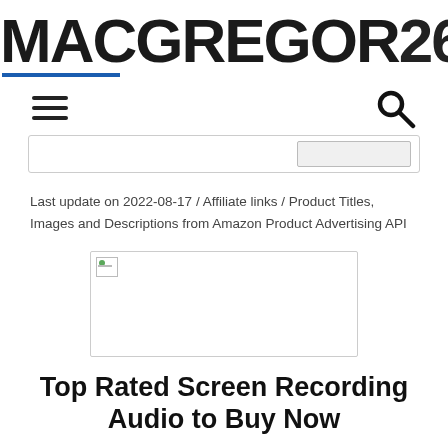MACGREGOR26
[Figure (logo): MACGREGOR26 logo with blue underline beneath MACGREGOR]
[Figure (infographic): Navigation bar with hamburger menu icon on left and search/magnifying glass icon on right]
[Figure (screenshot): Search bar with a button on the right side]
Last update on 2022-08-17 / Affiliate links / Product Titles, Images and Descriptions from Amazon Product Advertising API
[Figure (photo): Product image placeholder (broken image icon) in a bordered rectangle]
Top Rated Screen Recording Audio to Buy Now